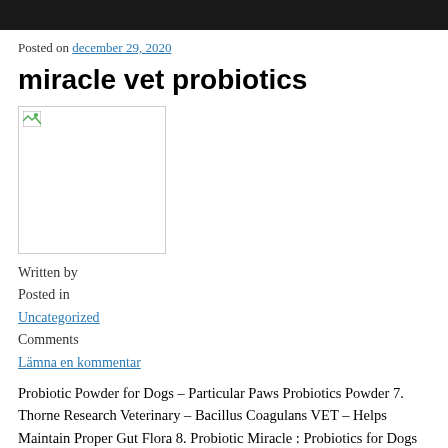Posted on december 29, 2020
miracle vet probiotics
[Figure (photo): Broken image placeholder — a small broken image icon in the top-left of a bordered rectangle]
Written by
Posted in
Uncategorized
Comments
Lämna en kommentar
Probiotic Powder for Dogs – Particular Paws Probiotics Powder 7. Thorne Research Veterinary – Bacillus Coagulans VET – Helps Maintain Proper Gut Flora 8. Probiotic Miracle : Probiotics for Dogs and Cats Promote amazing health and a lifetime of wellness by supporting the gut. E-Mail: Spray, Classic Comfort Dog Collar